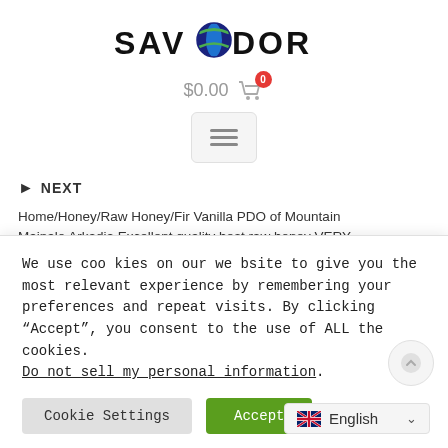[Figure (logo): SAVADOR logo with a green/blue globe/leaf icon between SAV and DOR]
$0.00  0 (cart icon with badge)
[Figure (other): Hamburger menu button (three horizontal lines) in a rounded rectangle]
▶ NEXT
Home/Honey/Raw Honey/Fir Vanilla PDO of Mountain Mainalo Arkadia Excellent quality best raw honey VERY
We use cookies on our website to give you the most relevant experience by remembering your preferences and repeat visits. By clicking "Accept", you consent to the use of ALL the cookies.
Do not sell my personal information.
Cookie Settings   Accept
English